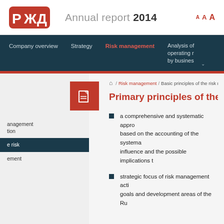RZD Annual report 2014
Company overview | Strategy | Risk management | Analysis of operating results by business segments
Primary principles of the risk management
Home / Risk management / Basic principles of the risk management
a comprehensive and systematic approach based on the accounting of the systematic influence and the possible implications t...
strategic focus of risk management activities on the goals and development areas of the RU...